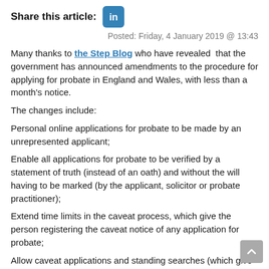Share this article:
Posted: Friday, 4 January 2019 @ 13:43
Many thanks to the Step Blog who have revealed that the government has announced amendments to the procedure for applying for probate in England and Wales, with less than a month's notice.
The changes include:
Personal online applications for probate to be made by an unrepresented applicant;
Enable all applications for probate to be verified by a statement of truth (instead of an oath) and without the will having to be marked (by the applicant, solicitor or probate practitioner);
Extend time limits in the caveat process, which give the person registering the caveat notice of any application for probate;
Allow caveat applications and standing searches (which give notice of grants being issued) to be made electronically;
Extend the powers of district probate registrars equivalent to those of district judges; and make further provision for the issue of directions for its continuation, or the national jurisdictions, bringing in...